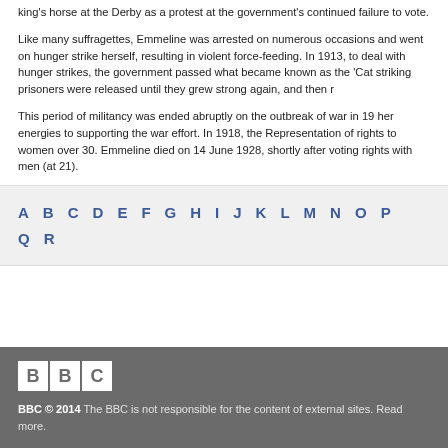king's horse at the Derby as a protest at the government's continued failure to give women the right to vote.
Like many suffragettes, Emmeline was arrested on numerous occasions and went on hunger strike herself, resulting in violent force-feeding. In 1913, to deal with hunger strikes, the government passed what became known as the 'Cat and Mouse' Act - striking prisoners were released until they grew strong again, and then re-arrested.
This period of militancy was ended abruptly on the outbreak of war in 1914. Emmeline directed her energies to supporting the war effort. In 1918, the Representation of the People Act granted rights to women over 30. Emmeline died on 14 June 1928, shortly after women achieved equal voting rights with men (at 21).
A B C D E F G H I J K L M N O P Q R
BBC © 2014 The BBC is not responsible for the content of external sites. Read more.